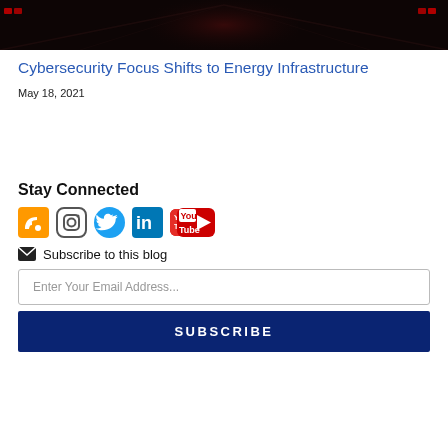[Figure (photo): Dark server room or data center corridor with red LED lights on both sides and a vanishing point perspective]
Cybersecurity Focus Shifts to Energy Infrastructure
May 18, 2021
Stay Connected
[Figure (infographic): Row of social media icons: RSS (orange), Instagram (outlined), Twitter (blue bird), LinkedIn (blue), YouTube (red/white)]
Subscribe to this blog
Enter Your Email Address...
SUBSCRIBE